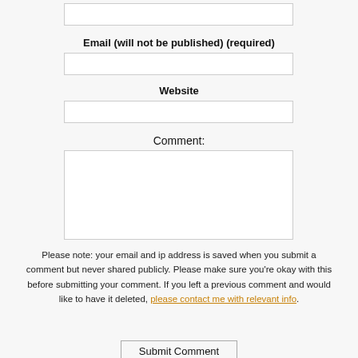[text input field - top, partially visible]
Email (will not be published) (required)
[email input field]
Website
[website input field]
Comment:
[comment textarea]
Please note: your email and ip address is saved when you submit a comment but never shared publicly. Please make sure you're okay with this before submitting your comment. If you left a previous comment and would like to have it deleted, please contact me with relevant info.
Submit Comment